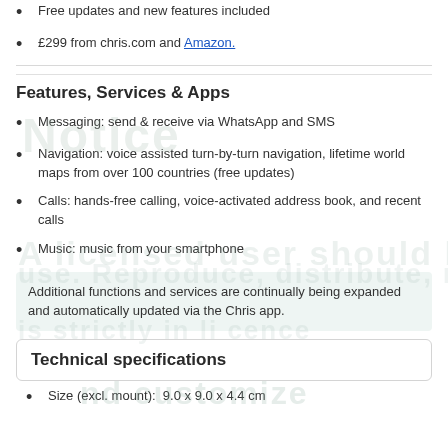Free updates and new features included
£299 from chris.com and Amazon.
Features, Services & Apps
Messaging: send & receive via WhatsApp and SMS
Navigation: voice assisted turn-by-turn navigation, lifetime world maps from over 100 countries (free updates)
Calls: hands-free calling, voice-activated address book, and recent calls
Music: music from your smartphone
Additional functions and services are continually being expanded and automatically updated via the Chris app.
Technical specifications
Size (excl. mount):  9.0 x 9.0 x 4.4 cm